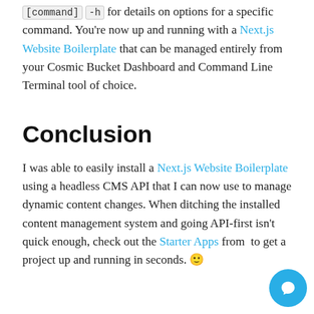[command] -h for details on options for a specific command. You're now up and running with a Next.js Website Boilerplate that can be managed entirely from your Cosmic Bucket Dashboard and Command Line Terminal tool of choice.
Conclusion
I was able to easily install a Next.js Website Boilerplate using a headless CMS API that I can now use to manage dynamic content changes. When ditching the installed content management system and going API-first isn't quick enough, check out the Starter Apps from to get a project up and running in seconds. 🙂